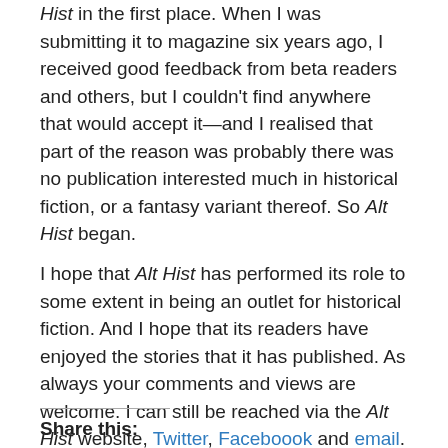Hist in the first place. When I was submitting it to magazine six years ago, I received good feedback from beta readers and others, but I couldn't find anywhere that would accept it—and I realised that part of the reason was probably there was no publication interested much in historical fiction, or a fantasy variant thereof. So Alt Hist began.
I hope that Alt Hist has performed its role to some extent in being an outlet for historical fiction. And I hope that its readers have enjoyed the stories that it has published. As always your comments and views are welcome. I can still be reached via the Alt Hist website, Twitter, Faceboook and email.
Share this: